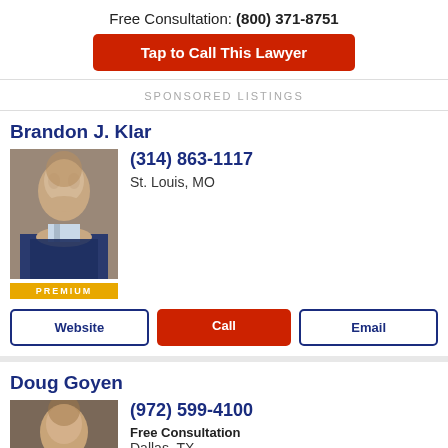Free Consultation: (800) 371-8751
Tap to Call This Lawyer
SPONSORED LISTINGS
Brandon J. Klar
[Figure (photo): Headshot of Brandon J. Klar with PREMIUM badge]
(314) 863-1117
St. Louis, MO
Website
Call
Email
Doug Goyen
[Figure (photo): Headshot of Doug Goyen]
(972) 599-4100
Free Consultation
Dallas, TX